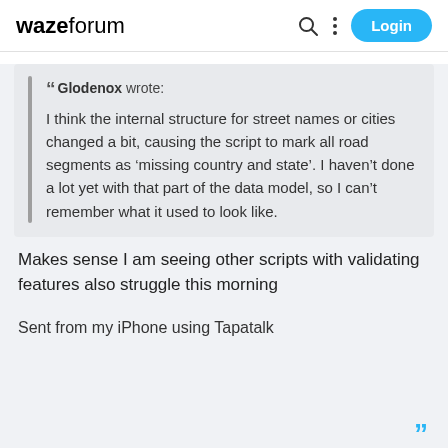waze forum Login
““ Glodenox wrote:
I think the internal structure for street names or cities changed a bit, causing the script to mark all road segments as 'missing country and state'. I haven't done a lot yet with that part of the data model, so I can't remember what it used to look like.
Makes sense I am seeing other scripts with validating features also struggle this morning
Sent from my iPhone using Tapatalk